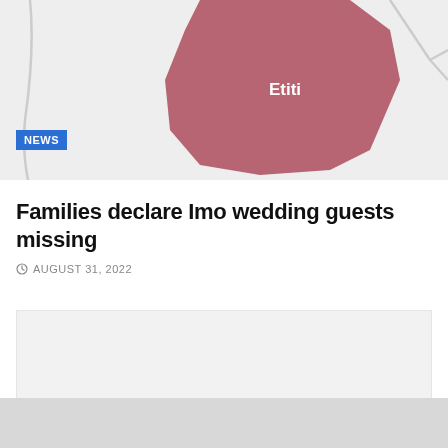[Figure (map): Partial map showing a region labeled Etiti highlighted in dark red/mauve color, with surrounding grey road/boundary lines on a light grey background.]
NEWS
Families declare Imo wedding guests missing
AUGUST 31, 2022
[Figure (other): Grey advertisement or content placeholder box]